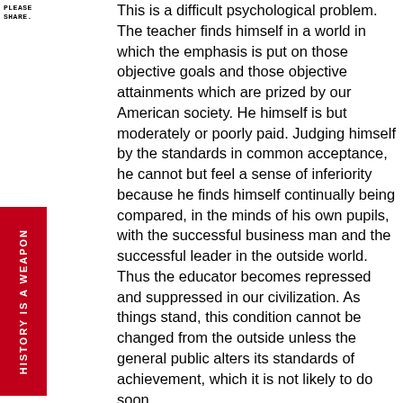PLEASE
SHARE.
This is a difficult psychological problem. The teacher finds himself in a world in which the emphasis is put on those objective goals and those objective attainments which are prized by our American society. He himself is but moderately or poorly paid. Judging himself by the standards in common acceptance, he cannot but feel a sense of inferiority because he finds himself continually being compared, in the minds of his own pupils, with the successful business man and the successful leader in the outside world. Thus the educator becomes repressed and suppressed in our civilization. As things stand, this condition cannot be changed from the outside unless the general public alters its standards of achievement, which it is not likely to do soon.
	Yet it can be changed by the teaching profession itself, if it becomes conscious not only of its individualistic relation to the pupil, but also of its
HISTORY IS A WEAPON